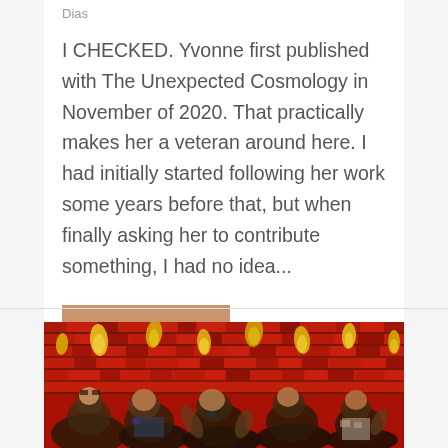Dias
I CHECKED. Yvonne first published with The Unexpected Cosmology in November of 2020. That practically makes her a veteran around here. I had initially started following her work some years before that, but when finally asking her to contribute something, I had no idea...
READ MORE
[Figure (illustration): A mosaic-style artwork with vivid red background showing figures with yellow flame-like shapes above them, rendered in a Van Gogh-esque thick brushstroke mosaic style with blues, yellows, reds, and earth tones.]